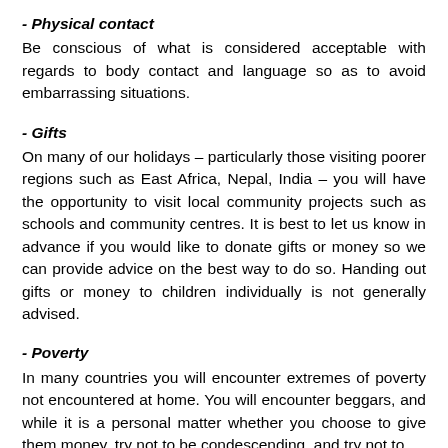- Physical contact
Be conscious of what is considered acceptable with regards to body contact and language so as to avoid embarrassing situations.
- Gifts
On many of our holidays – particularly those visiting poorer regions such as East Africa, Nepal, India – you will have the opportunity to visit local community projects such as schools and community centres. It is best to let us know in advance if you would like to donate gifts or money so we can provide advice on the best way to do so. Handing out gifts or money to children individually is not generally advised.
- Poverty
In many countries you will encounter extremes of poverty not encountered at home. You will encounter beggars, and while it is a personal matter whether you choose to give them money, try not to be condescending, and try not to